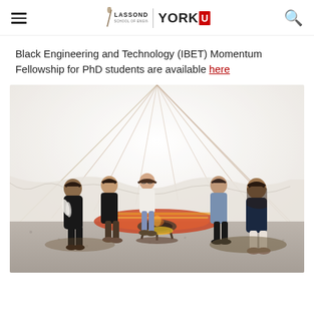Lassonde School of Engineering | York U
Black Engineering and Technology (IBET) Momentum Fellowship for PhD students are available here
[Figure (photo): Group of five people sitting in a circle inside a large white tent/teepee around a fire pit on a gravel floor with a colorful rug.]